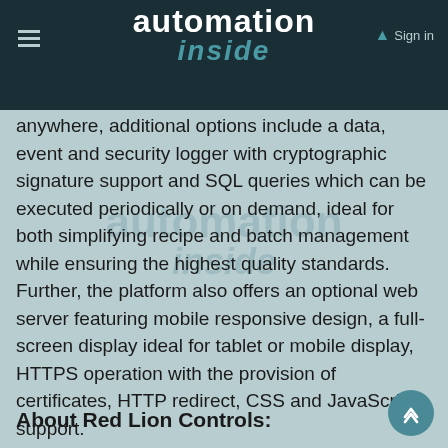automation inside — Sign in
anywhere, additional options include a data, event and security logger with cryptographic signature support and SQL queries which can be executed periodically or on demand, ideal for both simplifying recipe and batch management while ensuring the highest quality standards. Further, the platform also offers an optional web server featuring mobile responsive design, a full-screen display ideal for tablet or mobile display, HTTPS operation with the provision of certificates, HTTP redirect, CSS and JavaScript support.
About Red Lion Controls: